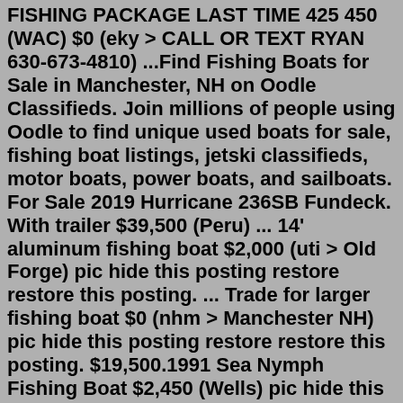FISHING PACKAGE LAST TIME 425 450 (WAC) $0 (eky > CALL OR TEXT RYAN 630-673-4810) ...Find Fishing Boats for Sale in Manchester, NH on Oodle Classifieds. Join millions of people using Oodle to find unique used boats for sale, fishing boat listings, jetski classifieds, motor boats, power boats, and sailboats. For Sale 2019 Hurricane 236SB Fundeck. With trailer $39,500 (Peru) ... 14' aluminum fishing boat $2,000 (uti > Old Forge) pic hide this posting restore restore this posting. ... Trade for larger fishing boat $0 (nhm > Manchester NH) pic hide this posting restore restore this posting. $19,500.1991 Sea Nymph Fishing Boat $2,450 (Wells) pic hide this posting restore restore this posting. $5,700. ... 1991 14' GRUMMAN ALUMINUM V-HULL BOAT $975 (West Windsor) ... View a wide selection of boats for sale in Manchester-by-the-Sea, explore detailed information, photos, price and find your next boat on DailyBoats.com Costs vary based on the boats size. For a small dinghy it could cost $350, but a 52 foot fiberglass yacht could run $2500. Your average 32 footer would probably